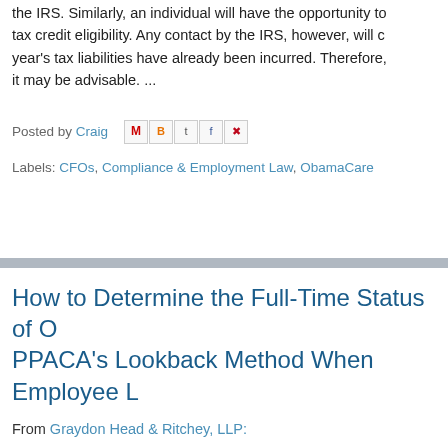the IRS. Similarly, an individual will have the opportunity to tax credit eligibility. Any contact by the IRS, however, will c year's tax liabilities have already been incurred. Therefore, it may be advisable. ...
Posted by Craig
Labels: CFOs, Compliance & Employment Law, ObamaCare
How to Determine the Full-Time Status of O PPACA's Lookback Method When Employee L
From Graydon Head & Ritchey, LLP:
Generally, an employee does not have to be credited with h which they are on an unpaid leave. However, a special rule FMLA leave, USERRA leave or jury duty (referred to as "spe special leave, an ALE has two options for crediting service. special leave and only measure the hours of service during t